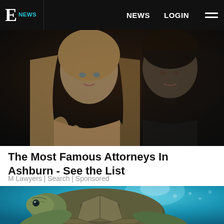E NEWS  |  NEWS  LOGIN  ≡
[Figure (photo): A young blonde woman and a dark-haired man in a black shirt photographed together against a dark background]
The Most Famous Attorneys In Ashburn - See the List
M Lawyers | Search | Sponsored
[Figure (photo): Close-up underwater photo of a sea turtle swimming with blue water and sunlight in the background]